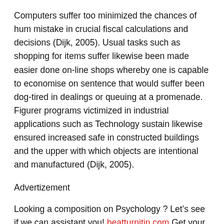Computers suffer too minimized the chances of hum mistake in crucial fiscal calculations and decisions (Dijk, 2005). Usual tasks such as shopping for items suffer likewise been made easier done on-line shops whereby one is capable to economise on sentence that would suffer been dog-tired in dealings or queuing at a promenade. Figurer programs victimized in industrial applications such as Technology sustain likewise ensured increased safe in constructed buildings and the upper with which objects are intentional and manufactured (Dijk, 2005).
Advertizement
Looking a composition on Psychology ? Let’s see if we can assistant you! beatturnitin.com Get your beginning theme with 15% OFF